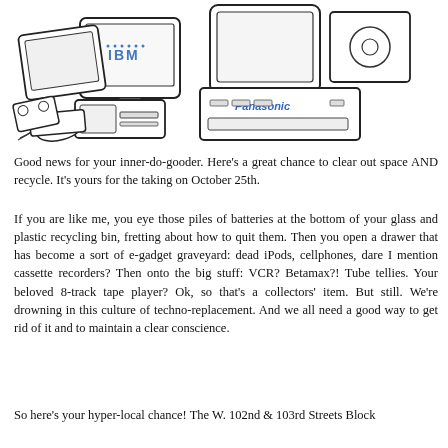[Figure (illustration): Line drawing illustration of a pile of old electronics: IBM monitors, Panasonic devices, VCR, computers, mice, and other vintage tech gadgets stacked together.]
Good news for your inner-do-gooder.  Here's a great chance to clear out space AND recycle.  It's yours for the taking on October 25th.
If you are like me, you eye those piles of batteries at the bottom of your glass and plastic recycling bin, fretting about how to quit them. Then you open a drawer that has become a sort of e-gadget graveyard: dead iPods, cellphones, dare I mention cassette recorders? Then onto the big stuff: VCR? Betamax?! Tube tellies. Your beloved 8-track tape player? Ok, so that's a collectors' item. But still. We're drowning in this culture of techno-replacement.  And we all need a good way to get rid of it and to maintain a clear conscience.
So here's your hyper-local chance! The W. 102nd & 103rd Streets Block